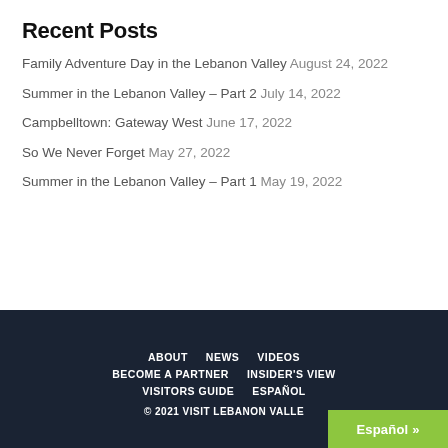Recent Posts
Family Adventure Day in the Lebanon Valley August 24, 2022
Summer in the Lebanon Valley – Part 2 July 14, 2022
Campbelltown: Gateway West June 17, 2022
So We Never Forget May 27, 2022
Summer in the Lebanon Valley – Part 1 May 19, 2022
ABOUT   NEWS   VIDEOS   BECOME A PARTNER   INSIDER'S VIEW   VISITORS GUIDE   ESPAÑOL   © 2021 VISIT LEBANON VALLEY   Español »